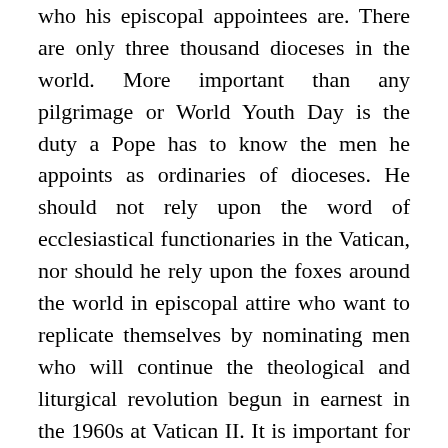who his episcopal appointees are. There are only three thousand dioceses in the world. More important than any pilgrimage or World Youth Day is the duty a Pope has to know the men he appoints as ordinaries of dioceses. He should not rely upon the word of ecclesiastical functionaries in the Vatican, nor should he rely upon the foxes around the world in episcopal attire who want to replicate themselves by nominating men who will continue the theological and liturgical revolution begun in earnest in the 1960s at Vatican II. It is important for a pope to personally interview all possible candidates for episcopal appointments (even as auxiliary bishops) and to elicit information from